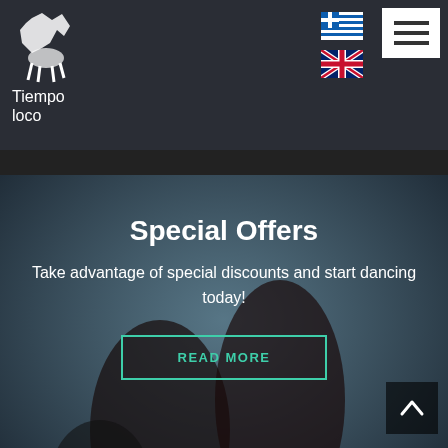Tiempo loco
Special Offers
Take advantage of special discounts and start dancing today!
READ MORE
IDTA Diplomas - Certificates
Acquire an IDTA amateur or professional medal/diploma/certificate.